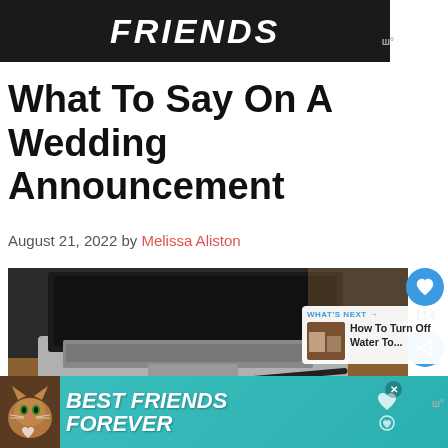[Figure (logo): Black banner with bold italic white text reading FRIENDS, with a Wordmark W logo to the right]
What To Say On A Wedding Announcement
August 21, 2022 by Melissa Aliston
[Figure (photo): Photo of an open laptop on a wooden desk with a pen in front of it]
[Figure (infographic): What's Next panel showing a thumbnail and text: How To Turn Off Water To...]
[Figure (other): Teal advertisement banner with cat graphic and bold italic text BEST FRIENDS FOREVER, with heart icons and close X button, and Wordmark W logo to right]